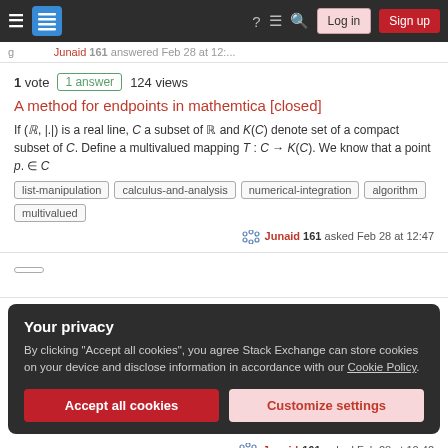Stack Exchange navigation bar with Log in and Sign up buttons
g ... Junaid 161 answered Feb 28 at 12:...
1 vote  1 answer  124 views
A method for endpoints in mathemtica [closed]
If (ℝ, |.|) is a real line, C a subset of ℝ and K(C) denote set of a compact subset of C. Define a multivalued mapping T : C → K(C). We know that a point p. ∈ C
list-manipulation
calculus-and-analysis
numerical-integration
algorithm
multivalued
Junaid 161 asked Feb 28 at 12:47
Your privacy
By clicking "Accept all cookies", you agree Stack Exchange can store cookies on your device and disclose information in accordance with our Cookie Policy.
Accept all cookies   Customize settings
Junaid 161 asked Feb 28 at 10:42